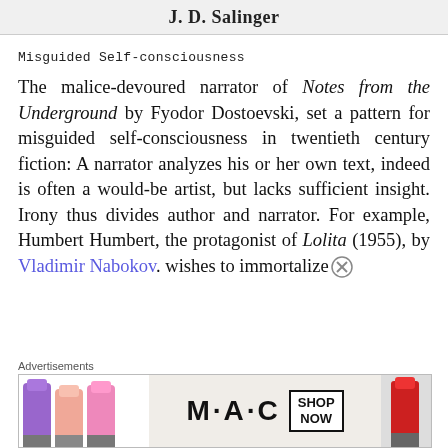J. D. Salinger
Misguided Self-consciousness
The malice-devoured narrator of Notes from the Underground by Fyodor Dostoevski, set a pattern for misguided self-consciousness in twentieth century fiction: A narrator analyzes his or her own text, indeed is often a would-be artist, but lacks sufficient insight. Irony thus divides author and narrator. For example, Humbert Humbert, the protagonist of Lolita (1955), by Vladimir Nabokov. wishes to immortalize
[Figure (screenshot): M·A·C cosmetics advertisement banner showing lipsticks in purple, salmon, pink colors on left side, MAC logo in center with SHOP NOW button, red lipstick on right side.]
Advertisements